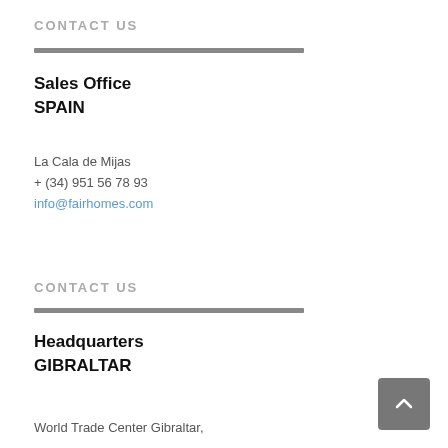CONTACT US
Sales Office
SPAIN
La Cala de Mijas
+ (34) 951 56 78 93
info@fairhomes.com
CONTACT US
Headquarters
GIBRALTAR
World Trade Center Gibraltar,